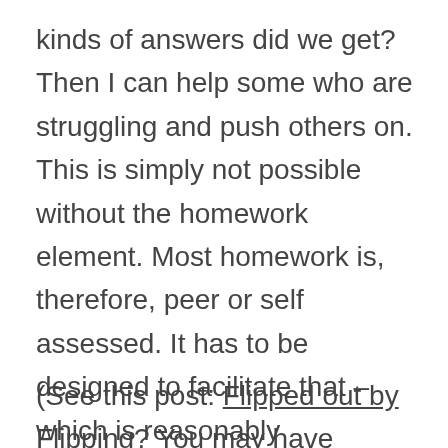kinds of answers did we get? Then I can help some who are struggling and push others on. This is simply not possible without the homework element. Most homework is, therefore, peer or self assessed. It has to be designed to facilitate that – which is reasonably straightforward. Along with research, note-taking and other pre-learning activities, most homework is about getting ready for the next lesson; this makes lessons much less teacher-centric.
(See this post: Flipped out by Flipping? You may have missed the point.)